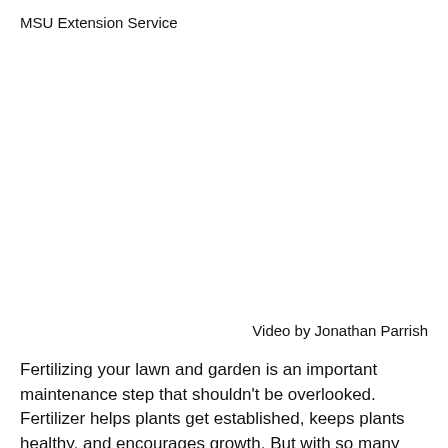MSU Extension Service
Video by Jonathan Parrish
Fertilizing your lawn and garden is an important maintenance step that shouldn't be overlooked. Fertilizer helps plants get established, keeps plants healthy, and encourages growth. But with so many different types of fertilizers and ratios, knowing which kind to use can be